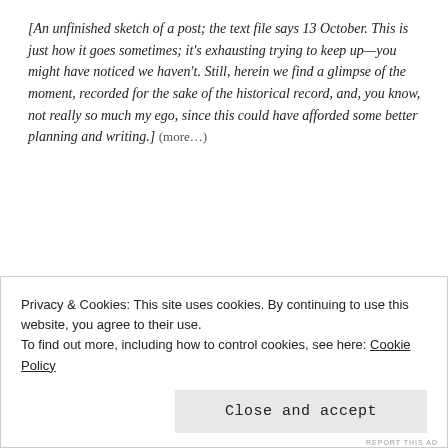[An unfinished sketch of a post; the text file says 13 October. This is just how it goes sometimes; it's exhausting trying to keep up—you might have noticed we haven't. Still, herein we find a glimpse of the moment, recorded for the sake of the historical record, and, you know, not really so much my ego, since this could have afforded some better planning and writing.] (more…)
Advertisements
[Figure (infographic): WordPress CMS advertisement image showing magazine covers and social media brand tiles (Meta, Facebook) with overlaid text: We're the WordPress CMS for Very Important Content]
Privacy & Cookies: This site uses cookies. By continuing to use this website, you agree to their use.
To find out more, including how to control cookies, see here: Cookie Policy
Close and accept